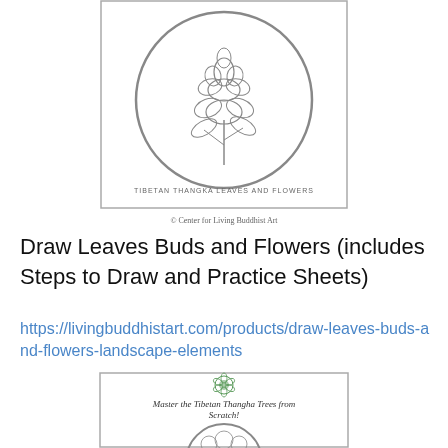[Figure (illustration): Line drawing of Tibetan Thangka leaves and flowers inside an oval frame, with text 'TIBETAN THANGKA LEAVES AND FLOWERS' below inside a rectangular border]
© Center for Living Buddhist Art
Draw Leaves Buds and Flowers (includes Steps to Draw and Practice Sheets)
https://livingbuddhistart.com/products/draw-leaves-buds-and-flowers-landscape-elements
[Figure (illustration): Line drawing of a Tibetan Thangka tree (fluffy rounded tree) inside a circular frame, with a green lotus logo at top and italic text 'Master the Tibetan Thangha Trees from Scratch!' above the circle]